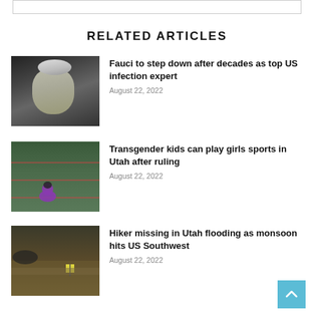RELATED ARTICLES
[Figure (photo): Photo of Anthony Fauci, elderly man with gray hair speaking]
Fauci to step down after decades as top US infection expert
August 22, 2022
[Figure (photo): Photo of a swimmer sitting at the edge of a pool from behind]
Transgender kids can play girls sports in Utah after ruling
August 22, 2022
[Figure (photo): Photo of flood damage with a yellow warning sign in Utah]
Hiker missing in Utah flooding as monsoon hits US Southwest
August 22, 2022